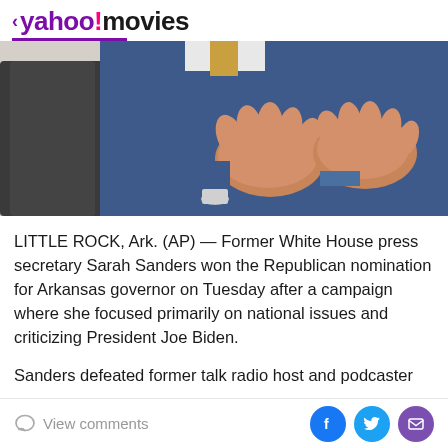< yahoo!movies
[Figure (photo): Close-up photo of a person in a blue suit with hands gesturing, another person in a dark suit partially visible on the left]
LITTLE ROCK, Ark. (AP) — Former White House press secretary Sarah Sanders won the Republican nomination for Arkansas governor on Tuesday after a campaign where she focused primarily on national issues and criticizing President Joe Biden.
Sanders defeated former talk radio host and podcaster
View comments